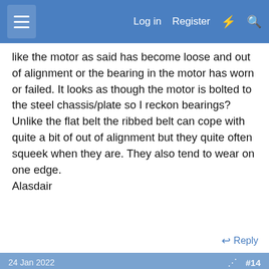Log in  Register
like the motor as said has become loose and out of alignment or the bearing in the motor has worn or failed. It looks as though the motor is bolted to the steel chassis/plate so I reckon bearings? Unlike the flat belt the ribbed belt can cope with quite a bit of out of alignment but they quite often squeek when they are. They also tend to wear on one edge.
Alasdair
Reply
24 Jan 2022  #14
new2uwood42
Member
Report Ad